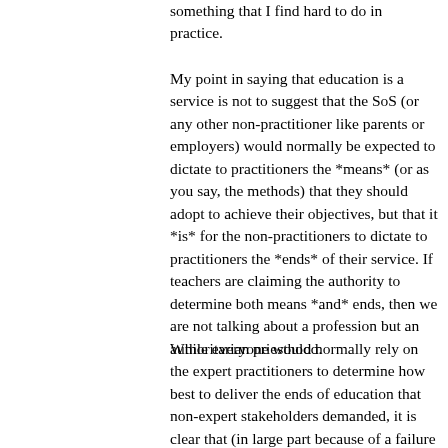something that I find hard to do in practice.
My point in saying that education is a service is not to suggest that the SoS (or any other non-practitioner like parents or employers) would normally be expected to dictate to practitioners the *means* (or as you say, the methods) that they should adopt to achieve their objectives, but that it *is* for the non-practitioners to dictate to practitioners the *ends* of their service. If teachers are claiming the authority to determine both means *and* ends, then we are not talking about a profession but an authoritarian priesthood.
While everyone would normally rely on the expert practitioners to determine how best to deliver the ends of education that non-expert stakeholders demanded, it is clear that (in large part because of a failure to distinguish between value